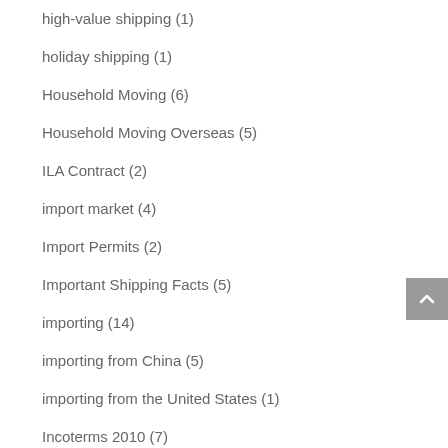high-value shipping (1)
holiday shipping (1)
Household Moving (6)
Household Moving Overseas (5)
ILA Contract (2)
import market (4)
Import Permits (2)
Important Shipping Facts (5)
importing (14)
importing from China (5)
importing from the United States (1)
Incoterms 2010 (7)